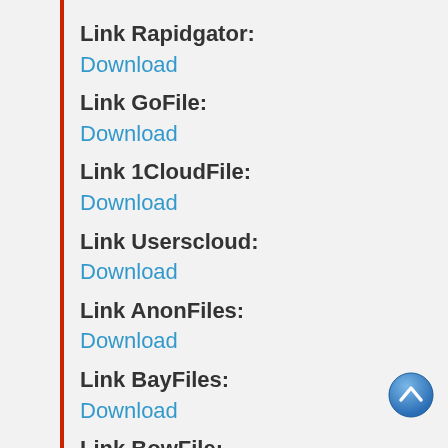Link Rapidgator:
Download
Link GoFile:
Download
Link 1CloudFile:
Download
Link Userscloud:
Download
Link AnonFiles:
Download
Link BayFiles:
Download
Link BowFile:
Download
Link PixelDrain:
Download